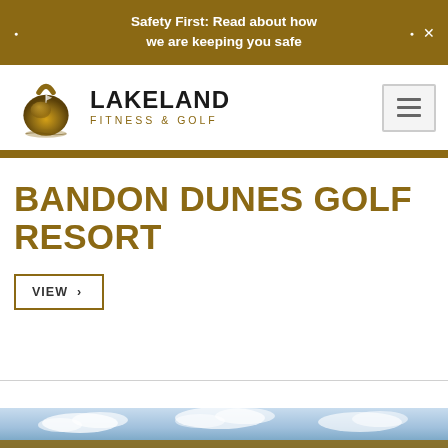Safety First: Read about how we are keeping you safe
[Figure (logo): Lakeland Fitness & Golf logo with kettlebell/golf icon]
BANDON DUNES GOLF RESORT
VIEW ›
[Figure (photo): Sky and landscape photo strip at bottom of page]